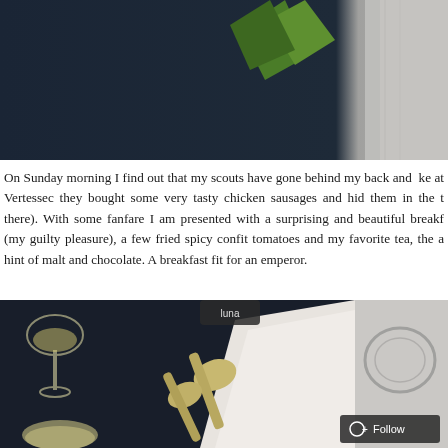[Figure (photo): Top portion of a food/breakfast photo showing dark background with a green leaf/herb and grey linen fabric on the right side.]
On Sunday morning I find out that my scouts have gone behind my back and  ke at Vertessec they bought some very tasty chicken sausages and hid them in the t there). With some fanfare I am presented with a surprising and beautiful breakf (my guilty pleasure), a few fried spicy confit tomatoes and my favorite tea, the a hint of malt and chocolate. A breakfast fit for an emperor.
[Figure (photo): Dark moody food photography showing vintage silver spoons, a wine glass with liquid, white linen napkin, and another glass on a weathered surface. A 'Follow' button overlay in the bottom right corner.]